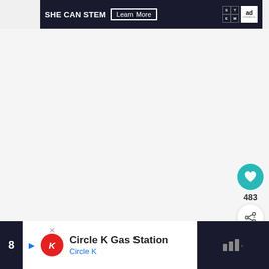[Figure (screenshot): SHE CAN STEM banner advertisement with dark background, featuring 'SHE CAN STEM' text, 'Learn More' button, STEM logo grid, and Ad Council logo]
[Figure (screenshot): Social media sidebar with teal heart/like button, count of 483, and share button]
483
[Figure (screenshot): What's Next panel showing 'WHAT'S NEXT' label with arrow and 'Funfetti Mug Cake' title with food image]
WHAT'S NEXT → Funfetti Mug Cake
[Figure (screenshot): Bottom advertisement banner for Circle K Gas Station with Circle K logo and navigation arrow icon]
Circle K Gas Station
Circle K